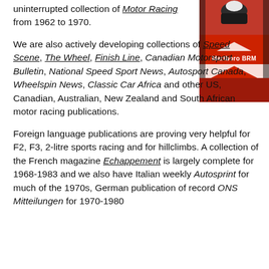uninterrupted collection of Motor Racing from 1962 to 1970.
[Figure (photo): Close-up of a red Marlboro BRM Formula 1 racing car showing the cockpit area and nose cone with Marlboro BRM branding.]
We are also actively developing collections of Speed Scene, The Wheel, Finish Line, Canadian Motorsport Bulletin, National Speed Sport News, Autosport Canada, Wheelspin News, Classic Car Africa and other US, Canadian, Australian, New Zealand and South African motor racing publications.
Foreign language publications are proving very helpful for F2, F3, 2-litre sports racing and for hillclimbs. A collection of the French magazine Echappement is largely complete for 1968-1983 and we also have Italian weekly Autosprint for much of the 1970s, German publication of record ONS Mitteilungen for 1970-1980, French monthly Sport Auto for 1970-1980 and more in...